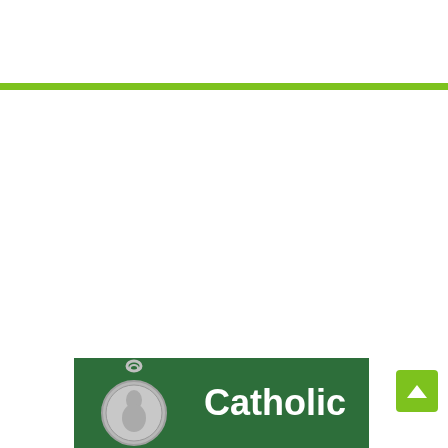[Figure (other): White header area above green navigation bar]
[Figure (other): Green horizontal navigation/separator bar]
[Figure (other): White main content area]
[Figure (photo): Bottom banner showing a silver Catholic medal/medallion on a dark green marble background with the word 'Catholic' in large white bold text]
[Figure (other): Green scroll-to-top button with white upward arrow chevron, positioned at bottom right]